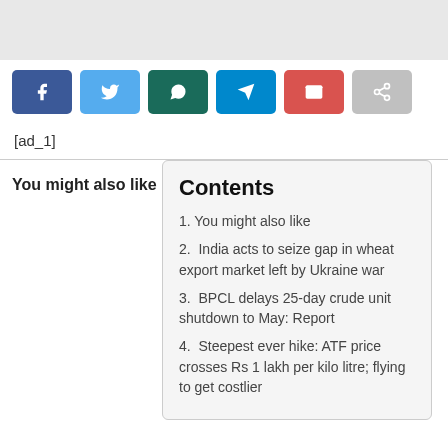[Figure (other): Gray header bar at top of page]
[Figure (other): Row of social share buttons: Facebook (dark blue), Twitter (light blue), WhatsApp (dark teal), Telegram (blue), Email (red), Share (gray)]
[ad_1]
You might also like
Contents
1. You might also like
2. India acts to seize gap in wheat export market left by Ukraine war
3. BPCL delays 25-day crude unit shutdown to May: Report
4. Steepest ever hike: ATF price crosses Rs 1 lakh per kilo litre; flying to get costlier